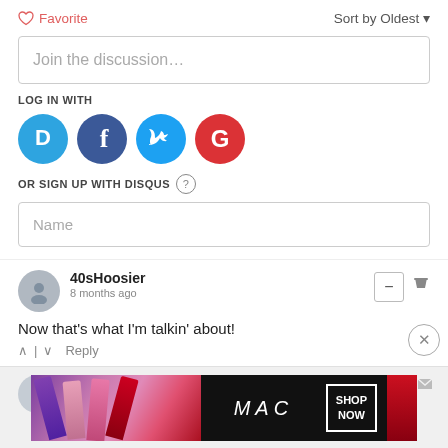♡ Favorite
Sort by Oldest ▾
Join the discussion...
LOG IN WITH
[Figure (illustration): Social login icons: Disqus (blue circle with D), Facebook (dark blue circle with f), Twitter (light blue circle with bird), Google (red circle with G)]
OR SIGN UP WITH DISQUS ?
Name
40sHoosier
8 months ago
Now that's what I'm talkin' about!
^ | ∨  Reply
[Figure (photo): MAC cosmetics advertisement showing lipsticks in purple, pink shades with MAC logo and SHOP NOW button]